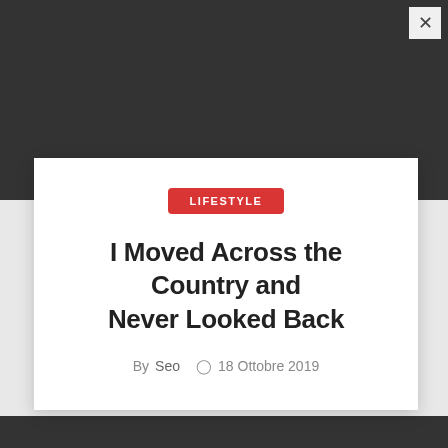[Figure (screenshot): Dark modal overlay with close button (×) in top-right corner, showing a blog article card on a white background. The card contains a red 'LIFESTYLE' category badge, article title, and byline with date.]
LIFESTYLE
I Moved Across the Country and Never Looked Back
By Seo  ⊙  18 Ottobre 2019